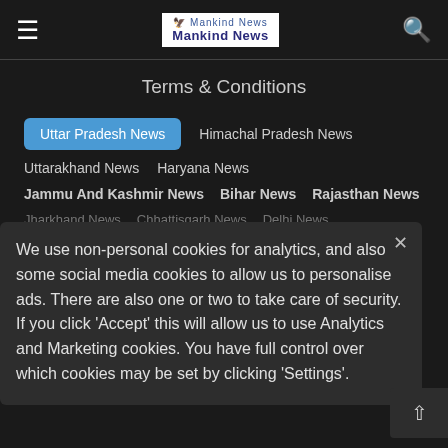Mankind News
Terms & Conditions
Uttar Pradesh News
Himachal Pradesh News
Uttarakhand News
Haryana News
Jammu And Kashmir News
Bihar News
Rajasthan News
Jharkhand News
Chhattisgarh News
Delhi News
Fashion News
Spirituality
Astrology
Daily Horoscope
Pujas
Tools
Age Calculator
Entertainment News
We use non-personal cookies for analytics, and also some social media cookies to allow us to personalise ads. There are also one or two to take care of security. If you click 'Accept' this will allow us to use Analytics and Marketing cookies. You have full control over which cookies may be set by clicking 'Settings'.